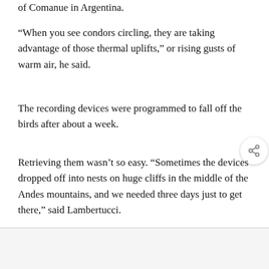of Comanue in Argentina.
“When you see condors circling, they are taking advantage of those thermal uplifts,” or rising gusts of warm air, he said.
The recording devices were programmed to fall off the birds after about a week.
Retrieving them wasn’t so easy. “Sometimes the devices dropped off into nests on huge cliffs in the middle of the Andes mountains, and we needed three days just to get there,” said Lambertucci.
by Christina Larson, Associated Press